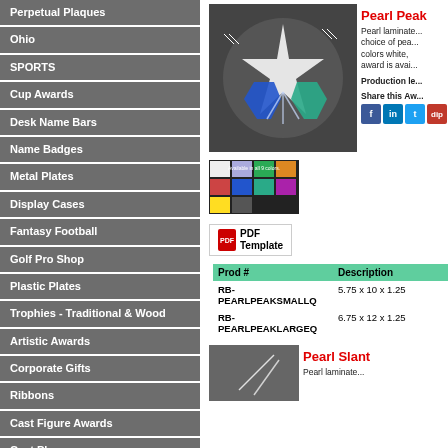Perpetual Plaques
Ohio
SPORTS
Cup Awards
Desk Name Bars
Name Badges
Metal Plates
Display Cases
Fantasy Football
Golf Pro Shop
Plastic Plates
Trophies - Traditional & Wood
Artistic Awards
Corporate Gifts
Ribbons
Cast Figure Awards
Cast Plaques
[Figure (photo): Pearl Peak award product photo showing acrylic star trophy with blue and teal pentagon bases]
Pearl Peak
Pearl laminate... choice of pea... colors white,... award is avai...
Production le...
Share this Aw...
[Figure (photo): Thumbnail showing available colors for Pearl Peak award]
PDF Template
| Prod # | Description |
| --- | --- |
| RB-PEARLPEAKSMALLQ | 5.75 x 10 x 1.25 |
| RB-PEARLPEAKLARGEQ | 6.75 x 12 x 1.25 |
[Figure (photo): Pearl Slant award product photo, partial view]
Pearl Slant
Pearl laminate...